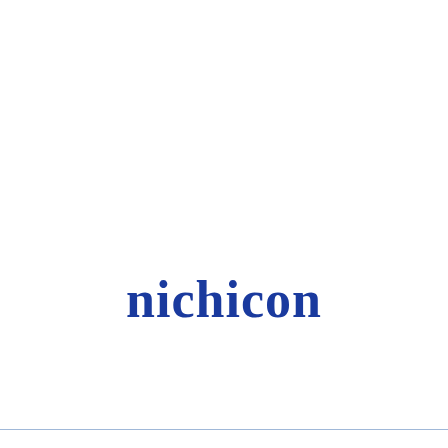[Figure (logo): Nichicon company logo — the word 'nichicon' in bold blue serif font centered on a white background]